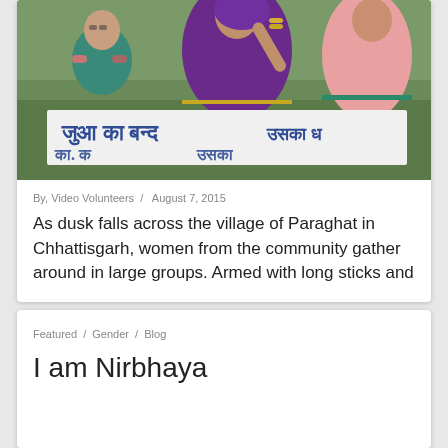[Figure (photo): Women from a community holding a banner/sign with Hindi text, participating in a protest or gathering. They are wearing colorful traditional Indian attire.]
By, Video Volunteers / August 7, 2015
As dusk falls across the village of Paraghat in Chhattisgarh, women from the community gather around in large groups. Armed with long sticks and
Featured / Gender / Blog
I am Nirbhaya